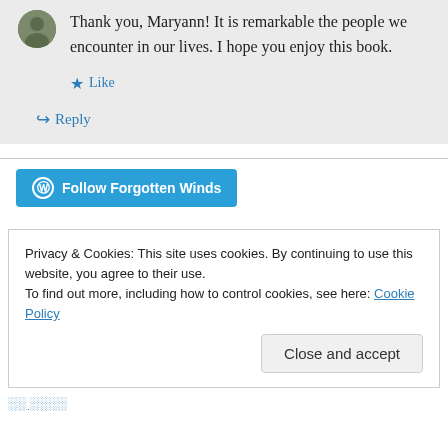Thank you, Maryann! It is remarkable the people we encounter in our lives. I hope you enjoy this book.
★ Like
↪ Reply
[Figure (logo): WordPress Follow button: Follow Forgotten Winds]
Privacy & Cookies: This site uses cookies. By continuing to use this website, you agree to their use. To find out more, including how to control cookies, see here: Cookie Policy
Close and accept